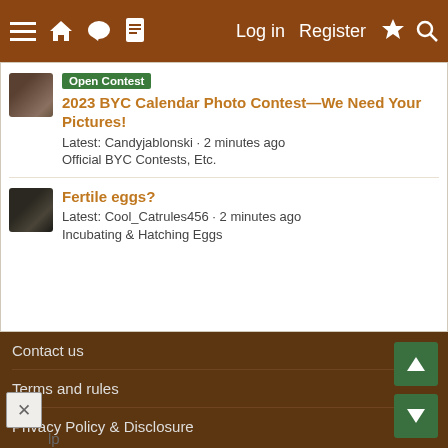Log in  Register
[Figure (screenshot): Forum post thumbnail: dark brown feathered chicken image]
Open Contest  2023 BYC Calendar Photo Contest—We Need Your Pictures!
Latest: Candyjablonski · 2 minutes ago
Official BYC Contests, Etc.
[Figure (screenshot): Forum post thumbnail: dark-colored bird close-up image]
Fertile eggs?
Latest: Cool_Catrules456 · 2 minutes ago
Incubating & Hatching Eggs
Contact us
Terms and rules
Privacy Policy & Disclosure
Help